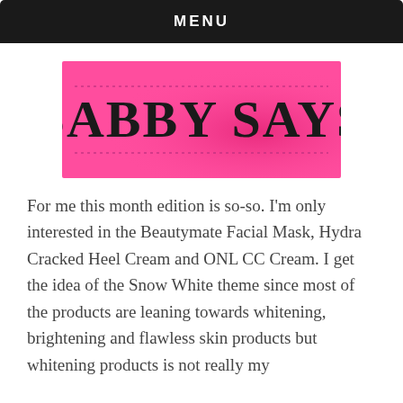MENU
[Figure (logo): Pink banner logo reading 'SABBY SAYS' in large bold decorative serif font on a hot pink background with dotted border lines above and below the text]
For me this month edition is so-so. I'm only interested in the Beautymate Facial Mask, Hydra Cracked Heel Cream and ONL CC Cream. I get the idea of the Snow White theme since most of the products are leaning towards whitening, brightening and flawless skin products but whitening products is not really my